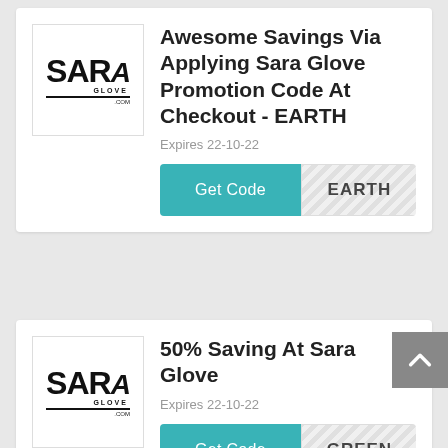[Figure (logo): Sara Glove logo in black text]
Awesome Savings Via Applying Sara Glove Promotion Code At Checkout - EARTH
Expires 22-10-22
[Figure (logo): Sara Glove logo in black text]
50% Saving At Sara Glove
Expires 22-10-22